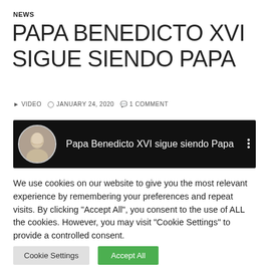NEWS
PAPA BENEDICTO XVI SIGUE SIENDO PAPA
▶ VIDEO  🕐 JANUARY 24, 2020  💬 1 COMMENT
[Figure (screenshot): Video thumbnail with dark background, circular avatar of an elderly man, and text 'Papa Benedicto XVI sigue siendo Papa' with three-dot menu icon]
We use cookies on our website to give you the most relevant experience by remembering your preferences and repeat visits. By clicking "Accept All", you consent to the use of ALL the cookies. However, you may visit "Cookie Settings" to provide a controlled consent.
Cookie Settings    Accept All